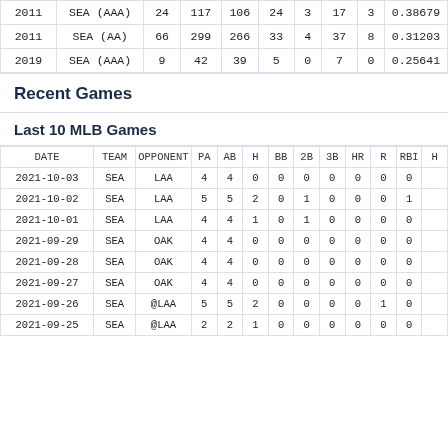|  |  | PA | AB | H | BB | 2B | 3B | HR | R | RBI |
| --- | --- | --- | --- | --- | --- | --- | --- | --- | --- | --- |
| 2011 | SEA (AAA) | 24 | 117 | 106 | 24 | 3 | 17 | 3 | 0.38679 |
| 2011 | SEA (AA) | 66 | 299 | 266 | 33 | 4 | 37 | 8 | 0.31203 |
| 2019 | SEA (AAA) | 9 | 42 | 39 | 5 | 0 | 7 | 0 | 0.25641 |
Recent Games
Last 10 MLB Games
| DATE | TEAM | OPPONENT | PA | AB | H | BB | 2B | 3B | HR | R | RBI | H |
| --- | --- | --- | --- | --- | --- | --- | --- | --- | --- | --- | --- | --- |
| 2021-10-03 | SEA | LAA | 4 | 4 | 0 | 0 | 0 | 0 | 0 | 0 | 0 |
| 2021-10-02 | SEA | LAA | 5 | 5 | 2 | 0 | 1 | 0 | 0 | 0 | 1 |
| 2021-10-01 | SEA | LAA | 4 | 4 | 1 | 0 | 1 | 0 | 0 | 0 | 0 |
| 2021-09-29 | SEA | OAK | 4 | 4 | 0 | 0 | 0 | 0 | 0 | 0 | 0 |
| 2021-09-28 | SEA | OAK | 4 | 4 | 0 | 0 | 0 | 0 | 0 | 0 | 0 |
| 2021-09-27 | SEA | OAK | 4 | 4 | 0 | 0 | 0 | 0 | 0 | 0 | 0 |
| 2021-09-26 | SEA | @LAA | 5 | 5 | 2 | 0 | 0 | 0 | 0 | 1 | 0 |
| 2021-09-25 | SEA | @LAA | 2 | 2 | 1 | 0 | 0 | 0 | 0 | 0 | 0 |